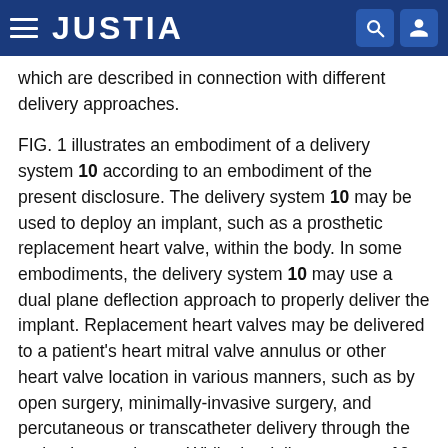JUSTIA
which are described in connection with different delivery approaches.
FIG. 1 illustrates an embodiment of a delivery system 10 according to an embodiment of the present disclosure. The delivery system 10 may be used to deploy an implant, such as a prosthetic replacement heart valve, within the body. In some embodiments, the delivery system 10 may use a dual plane deflection approach to properly deliver the implant. Replacement heart valves may be delivered to a patient's heart mitral valve annulus or other heart valve location in various manners, such as by open surgery, minimally-invasive surgery, and percutaneous or transcatheter delivery through the patient's vasculature. While the delivery system 10 may be described in certain embodiments in connection with a percutaneous delivery approach, and